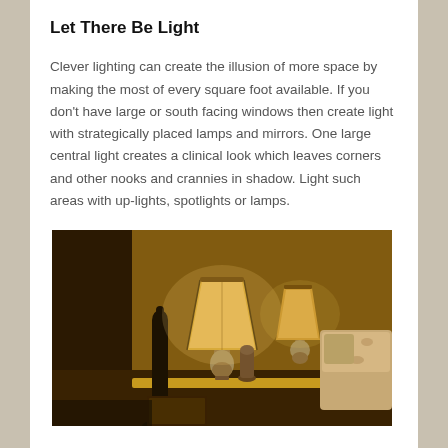Let There Be Light
Clever lighting can create the illusion of more space by making the most of every square foot available. If you don't have large or south facing windows then create light with strategically placed lamps and mirrors. One large central light creates a clinical look which leaves corners and other nooks and crannies in shadow. Light such areas with up-lights, spotlights or lamps.
[Figure (photo): Photograph of a warmly lit room interior with two table lamps with cream/gold lampshades, a dark tall vase in the foreground, and a floral sofa visible on the right side, giving a warm amber ambiance.]